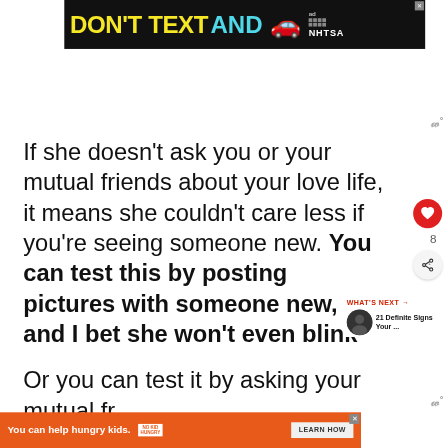[Figure (other): Advertisement banner: DON'T TEXT AND [car emoji] ad NHTSA with dark background]
If she doesn't ask you or your mutual friends about your love life, it means she couldn't care less if you're seeing someone new. You can test this by posting pictures with someone new, and I bet she won't even blink
[Figure (other): WHAT'S NEXT arrow with thumbnail and text: 21 Definite Signs Your ...]
Or you can test it by asking your mutual fr...
[Figure (other): Bottom advertisement: You can help hungry kids. NO KID HUNGRY. LEARN HOW]